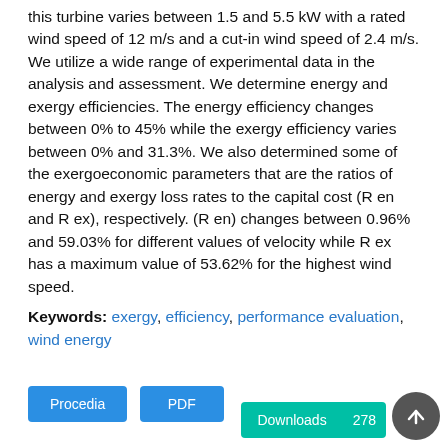this turbine varies between 1.5 and 5.5 kW with a rated wind speed of 12 m/s and a cut-in wind speed of 2.4 m/s. We utilize a wide range of experimental data in the analysis and assessment. We determine energy and exergy efficiencies. The energy efficiency changes between 0% to 45% while the exergy efficiency varies between 0% and 31.3%. We also determined some of the exergoeconomic parameters that are the ratios of energy and exergy loss rates to the capital cost (R en and R ex), respectively. (R en) changes between 0.96% and 59.03% for different values of velocity while R ex has a maximum value of 53.62% for the highest wind speed.
Keywords: exergy, efficiency, performance evaluation, wind energy
[Figure (other): Two blue buttons labeled 'Procedia' and 'PDF', a teal 'Downloads 278' button, and a dark circular up-arrow button]